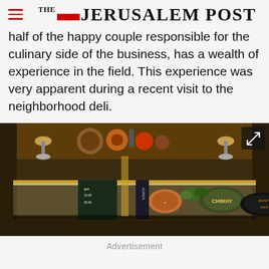THE JERUSALEM POST
half of the happy couple responsible for the culinary side of the business, has a wealth of experience in the field. This experience was very apparent during a recent visit to the neighborhood deli.
[Figure (photo): Interior of a deli counter showing various food items, bottles, signs and decorations including a Chimay sign and a sign reading Kevin's Deli.]
Advertisement